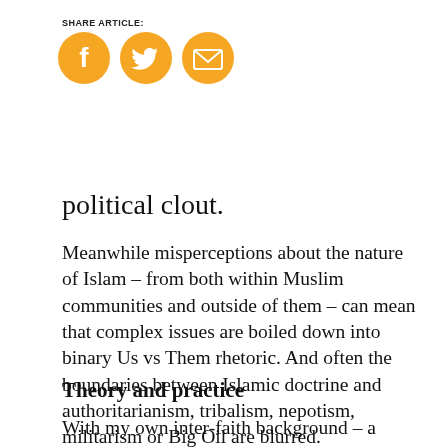SHARE ARTICLE:
[Figure (infographic): Three circular social sharing icons in yellow/orange: Facebook (f), Twitter (bird), and Email (envelope)]
political clout.
Meanwhile misperceptions about the nature of Islam – from both within Muslim communities and outside of them – can mean that complex issues are boiled down into binary Us vs Them rhetoric. And often the boundaries between Islamic doctrine and authoritarianism, tribalism, nepotism, militarism or Big Oil are blurred.
Theory and practice
With my own inter-faith background – a nominally Christian father and a devout